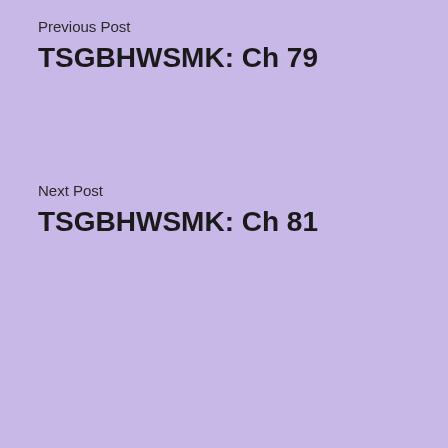Previous Post
TSGBHWSMK: Ch 79
Next Post
TSGBHWSMK: Ch 81
Leave a Reply
You must be logged in to post a comment.
[Figure (photo): Victoria's Secret advertisement banner with a model, VS logo, 'Shop the Collection' text, and 'Shop Now' button]
Advertisements